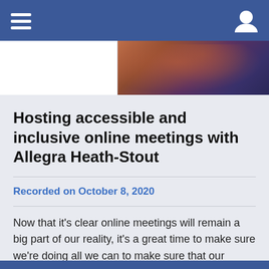Navigation bar with hamburger menu and user icon
[Figure (photo): Partial photo of a woman with red hair, appearing to play a musical instrument or hold a microphone, against a dark blue/purple background. The left portion of the strip is white.]
Hosting accessible and inclusive online meetings with Allegra Heath-Stout
Recorded on October 8, 2020
Now that it’s clear online meetings will remain a big part of our reality, it’s a great time to make sure we’re doing all we can to make sure that our meetings create an accessible, welcoming environment for all participants.